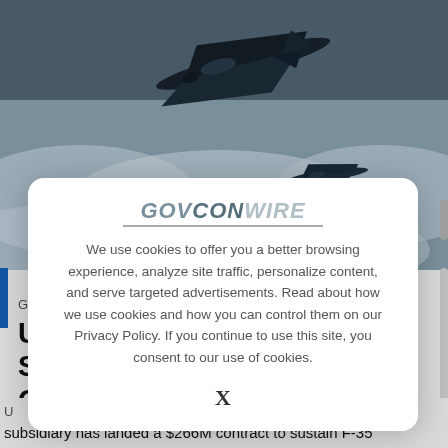[Figure (photo): Military fighter jet (F-35) flying above clouds, dark silhouette against cloudy sky]
[Figure (screenshot): GovConWire cookie consent modal overlay with logo, cookie policy message, and X close button]
We use cookies to offer you a better browsing experience, analyze site traffic, personalize content, and serve targeted advertisements. Read about how we use cookies and how you can control them on our Privacy Policy. If you continue to use this site, you consent to our use of cookies.
subsidiary has landed a $266M contract to sustain F-35